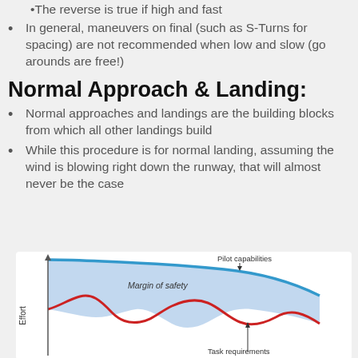The reverse is true if high and fast
In general, maneuvers on final (such as S-Turns for spacing) are not recommended when low and slow (go arounds are free!)
Normal Approach & Landing:
Normal approaches and landings are the building blocks from which all other landings build
While this procedure is for normal landing, assuming the wind is blowing right down the runway, that will almost never be the case
[Figure (continuous-plot): A diagram showing pilot capabilities (blue curve, decreasing) vs task requirements (red wavy curve), with shaded blue area between them labeled 'Margin of safety'. Y-axis labeled 'Effort'. Annotations: 'Pilot capabilities' with downward arrow, 'Task requirements' with upward arrow, 'Margin of safety' label in shaded area.]